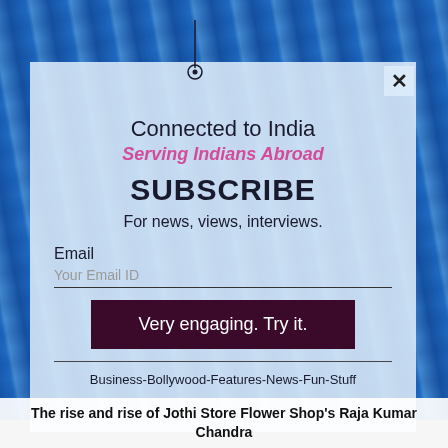[Figure (screenshot): Modal popup over blue glass building background with subscribe form for 'Connected to India']
Connected to India
Serving Indians Abroad
SUBSCRIBE
For news, views, interviews.
Email
Your Email ID
Very engaging. Try it.
Business-Bollywood-Features-News-Fun-Stuff
The rise and rise of Jothi Store Flower Shop's Raja Kumar Chandra